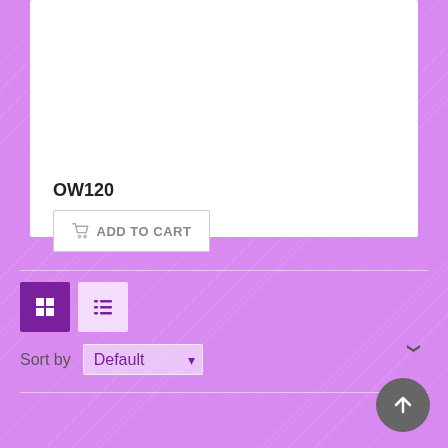[Figure (screenshot): White product card background area]
OW120
ADD TO CART
[Figure (other): View toggle buttons: grid view (active, purple) and list view]
Sort by
Default
products per page
[Figure (other): Back to top arrow button circle]